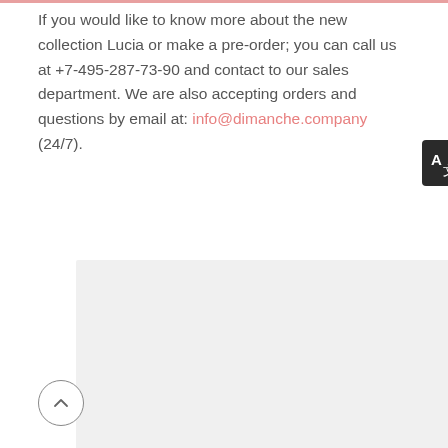If you would like to know more about the new collection Lucia or make a pre-order; you can call us at +7-495-287-73-90 and contact to our sales department. We are also accepting orders and questions by email at: info@dimanche.company (24/7).
[Figure (screenshot): A large light gray rectangle placeholder area, likely an embedded widget or map. A translation/language icon button (A with Chinese character) appears in the top-right corner of this area. A scroll-to-top circular arrow button appears at bottom-left.]